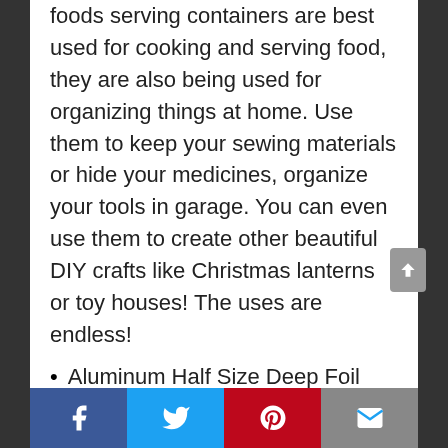foods serving containers are best used for cooking and serving food, they are also being used for organizing things at home. Use them to keep your sewing materials or hide your medicines, organize your tools in garage. You can even use them to create other beautiful DIY crafts like Christmas lanterns or toy houses! The uses are endless!
Aluminum Half Size Deep Foil Pan 30 packs Safe for use in freezer, oven, and steam table.pen,12 1/2″ x 10 1/4″ x 2 1/2″ (-40 gauge!-) made in the USA
Facebook | Twitter | Pinterest | Email